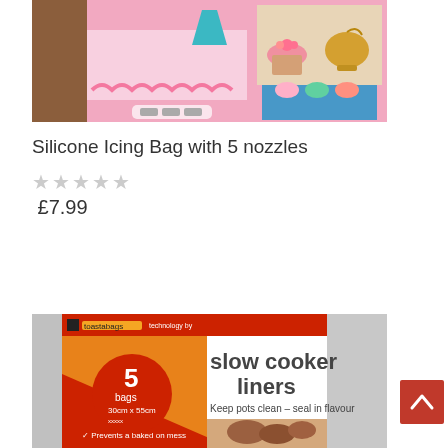[Figure (photo): Product image showing silicone icing bag with nozzles, cupcakes decorated with pink flowers, and baking accessories on a pink background]
Silicone Icing Bag with 5 nozzles
★★★★★ (empty stars rating)
£7.99
[Figure (photo): Product packaging for slow cooker liners by Toastabags — 5 bags, 30cm x 55cm. Text reads: slow cooker liners. Keep pots clean – seal in flavour. Prevents a baked on mess.]